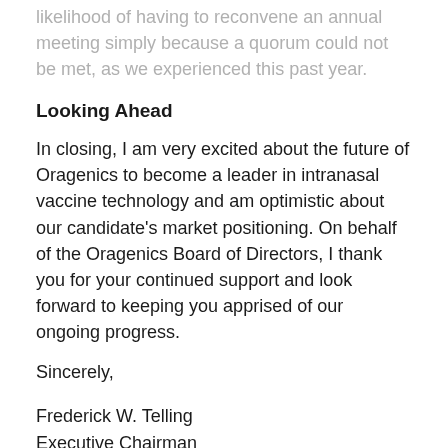likelihood of having to reconvene an annual meeting simply because a quorum could not be met, as we experienced this past year.
Looking Ahead
In closing, I am very excited about the future of Oragenics to become a leader in intranasal vaccine technology and am optimistic about our candidate's market positioning. On behalf of the Oragenics Board of Directors, I thank you for your continued support and look forward to keeping you apprised of our ongoing progress.
Sincerely,
Frederick W. Telling
Executive Chairman
May 17, 2022